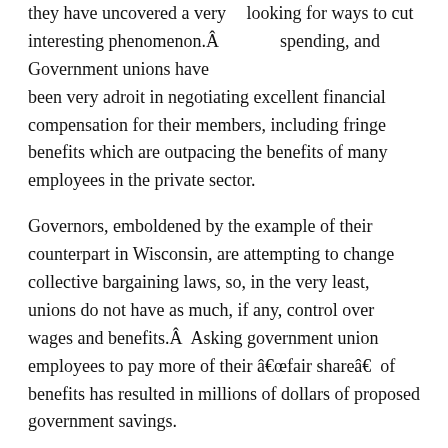looking for ways to cut spending, and they have uncovered a very interesting phenomenon.Â Government unions have been very adroit in negotiating excellent financial compensation for their members, including fringe benefits which are outpacing the benefits of many employees in the private sector.
Governors, emboldened by the example of their counterpart in Wisconsin, are attempting to change collective bargaining laws, so, in the very least, unions do not have as much, if any, control over wages and benefits.Â  Asking government union employees to pay more of their “fair share”  of benefits has resulted in millions of dollars of proposed government savings.
Well, you would think that mass murderers have been cornered in the town square, because lynch mobs have formed against “both sides”  of this dispute.Â  Protests have gone on unabated for days.Â  Teachers